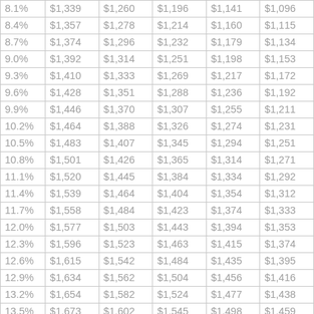| 8.1% | $1,339 | $1,260 | $1,196 | $1,141 | $1,096 |
| 8.4% | $1,357 | $1,278 | $1,214 | $1,160 | $1,115 |
| 8.7% | $1,374 | $1,296 | $1,232 | $1,179 | $1,134 |
| 9.0% | $1,392 | $1,314 | $1,251 | $1,198 | $1,153 |
| 9.3% | $1,410 | $1,333 | $1,269 | $1,217 | $1,172 |
| 9.6% | $1,428 | $1,351 | $1,288 | $1,236 | $1,192 |
| 9.9% | $1,446 | $1,370 | $1,307 | $1,255 | $1,211 |
| 10.2% | $1,464 | $1,388 | $1,326 | $1,274 | $1,231 |
| 10.5% | $1,483 | $1,407 | $1,345 | $1,294 | $1,251 |
| 10.8% | $1,501 | $1,426 | $1,365 | $1,314 | $1,271 |
| 11.1% | $1,520 | $1,445 | $1,384 | $1,334 | $1,292 |
| 11.4% | $1,539 | $1,464 | $1,404 | $1,354 | $1,312 |
| 11.7% | $1,558 | $1,484 | $1,423 | $1,374 | $1,333 |
| 12.0% | $1,577 | $1,503 | $1,443 | $1,394 | $1,353 |
| 12.3% | $1,596 | $1,523 | $1,463 | $1,415 | $1,374 |
| 12.6% | $1,615 | $1,542 | $1,484 | $1,435 | $1,395 |
| 12.9% | $1,634 | $1,562 | $1,504 | $1,456 | $1,416 |
| 13.2% | $1,654 | $1,582 | $1,524 | $1,477 | $1,438 |
| 13.5% | $1,673 | $1,602 | $1,545 | $1,498 | $1,459 |
| 13.8% | $1,693 | $1,622 | $1,565 | $1,519 | $1,481 |
| 14.1% | $1,713 | $1,643 | $1,586 | $1,540 | $1,502 |
| 14.4% | $1,733 | $1,663 | $1,607 | $1,562 | $1,524 |
| 14.7% | $1,753 | $1,684 | $1,628 | $1,583 | $1,546 |
| 15.0% | $1,773 | $1,704 | $1,649 | $1,605 | $1,568 |